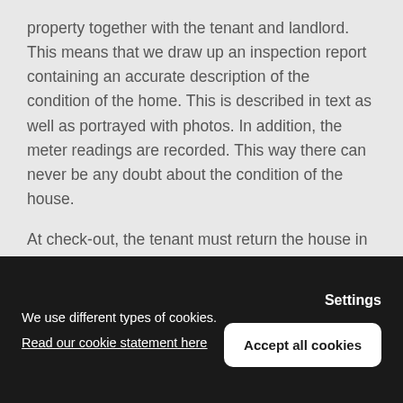property together with the tenant and landlord. This means that we draw up an inspection report containing an accurate description of the condition of the home. This is described in text as well as portrayed with photos. In addition, the meter readings are recorded. This way there can never be any doubt about the condition of the house.
At check-out, the tenant must return the house in a comparable condition. Dutch Brickx supervises both the initial and the final inspection. During the final inspection, it is assessed whether the house is in a comparable condition, so that the tenant can get his deposit back. The tenant and landlord must both agree and sign the check-
We use different types of cookies.
Read our cookie statement here
Settings
Accept all cookies